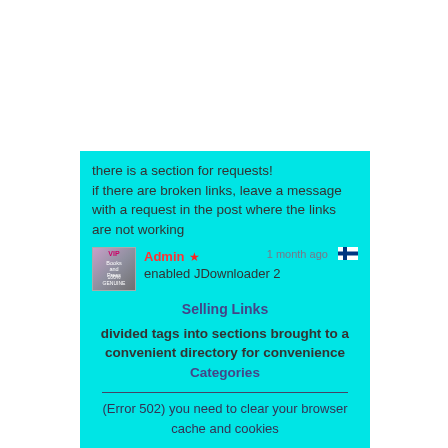there is a section for requests! if there are broken links, leave a message with a request in the post where the links are not working
Admin ★ enabled JDownloader 2
Selling Links
divided tags into sections brought to a convenient directory for convenience
Categories
(Error 502) you need to clear your browser cache and cookies